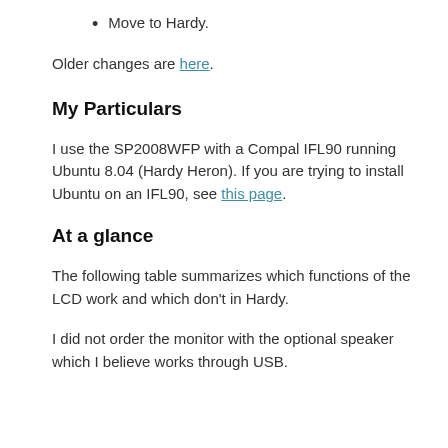Move to Hardy.
Older changes are here.
My Particulars
I use the SP2008WFP with a Compal IFL90 running Ubuntu 8.04 (Hardy Heron). If you are trying to install Ubuntu on an IFL90, see this page.
At a glance
The following table summarizes which functions of the LCD work and which don't in Hardy.
I did not order the monitor with the optional speaker which I believe works through USB.